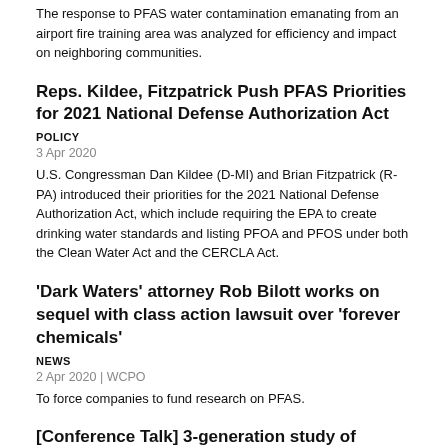The response to PFAS water contamination emanating from an airport fire training area was analyzed for efficiency and impact on neighboring communities.
Reps. Kildee, Fitzpatrick Push PFAS Priorities for 2021 National Defense Authorization Act
POLICY
3 Apr 2020
U.S. Congressman Dan Kildee (D-MI) and Brian Fitzpatrick (R-PA) introduced their priorities for the 2021 National Defense Authorization Act, which include requiring the EPA to create drinking water standards and listing PFOA and PFOS under both the Clean Water Act and the CERCLA Act.
'Dark Waters' attorney Rob Bilott works on sequel with class action lawsuit over 'forever chemicals'
NEWS
2 Apr 2020 | WCPO
To force companies to fund research on PFAS.
[Conference Talk] 3-generation study of metabolic disruption by pregnancy serum PFASs: Associations with abdominal and whole-body obesity in